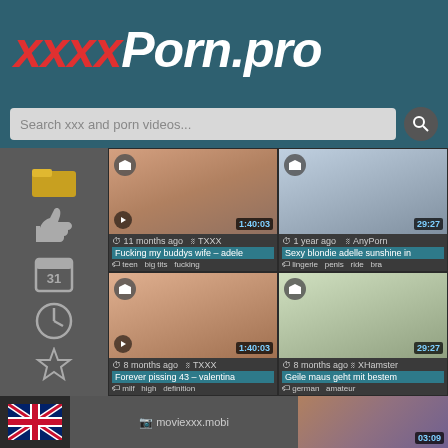xxxxPorn.pro
Search xxx and porn videos...
[Figure (screenshot): Video thumbnail 1 - adult content, 1:40:03 duration, 11 months ago, TXXX. Title: Fucking my buddys wife - adele. Tags: teen big tits fucking]
[Figure (screenshot): Video thumbnail 2 - adult content, 29:27 duration, 1 year ago, AnyPorn. Title: Sexy blondie adelle sunshine in. Tags: lingerie penis ride bra]
[Figure (screenshot): Video thumbnail 3 - adult content, 1:40:03 duration, 8 months ago, TXXX. Title: Forever pissing 43 - valentina. Tags: milf high definition]
[Figure (screenshot): Video thumbnail 4 - adult content, 29:27 duration, 8 months ago, XHamster. Title: Geile maus geht mit bestem. Tags: german amateur]
[Figure (screenshot): Bottom row: UK flag, moviexxx.mobi link, video thumbnail with 03:09 duration]